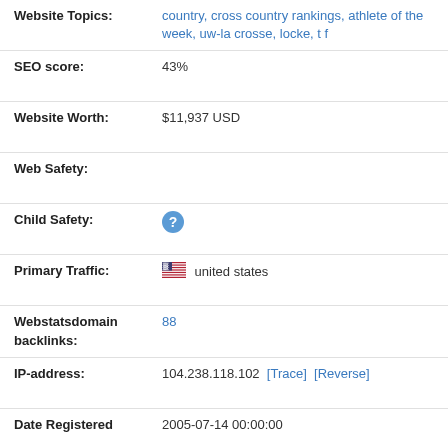| Field | Value |
| --- | --- |
| Website Topics: | country, cross country rankings, athlete of the week, uw-la crosse, locke, t f |
| SEO score: | 43% |
| Website Worth: | $11,937 USD |
| Web Safety: |  |
| Child Safety: | ? |
| Primary Traffic: | united states |
| Webstatsdomain backlinks: | 88 |
| IP-address: | 104.238.118.102  [Trace]  [Reverse] |
| Date Registered | 2005-07-14 00:00:00 |
| Expires | 2019-07-14 00:00:00 |
| Site Age | 17 years and 1 months |
| Email | abuse@godaddy.com |
| Owner | GoDaddy.com, LLC |